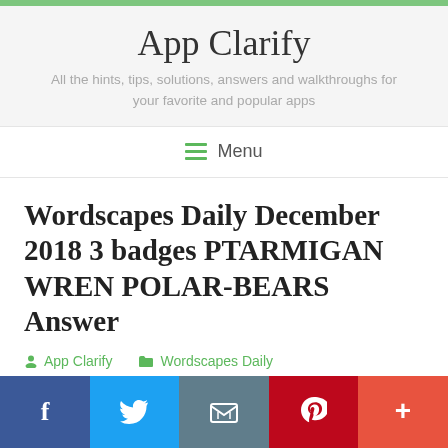App Clarify
All the hints, tips, solutions, answers and walkthroughs for your favorite and popular apps
Menu
Wordscapes Daily December 2018 3 badges PTARMIGAN WREN POLAR-BEARS Answer
App Clarify    Wordscapes Daily
[Figure (infographic): Social sharing bar with Facebook, Twitter, Email, Pinterest, and More (+) buttons]